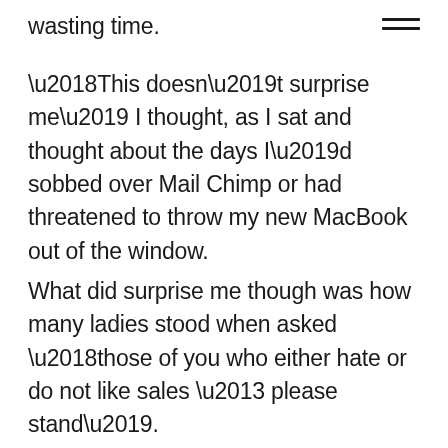wasting time.
‘This doesn’t surprise me’ I thought, as I sat and thought about the days I’d sobbed over Mail Chimp or had threatened to throw my new MacBook out of the window.
What did surprise me though was how many ladies stood when asked ‘those of you who either hate or do not like sales – please stand’.